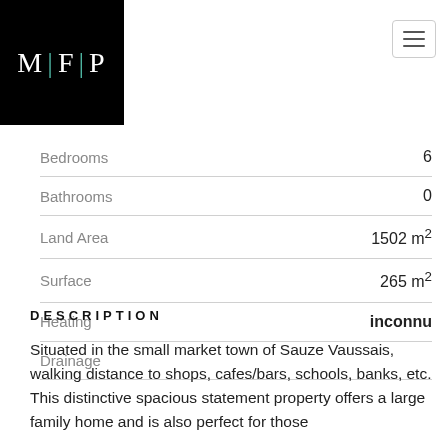[Figure (logo): MFP real estate logo — white text on black background with teal pipe separators]
| Property | Value |
| --- | --- |
| Bedrooms | 6 |
| Bathrooms | 0 |
| Land Area | 1502 m² |
| Surface | 265 m² |
| Heating | inconnu |
| Drainage |  |
DESCRIPTION
Situated in the small market town of Sauze Vaussais, walking distance to shops, cafes/bars, schools, banks, etc. This distinctive spacious statement property offers a large family home and is also perfect for those